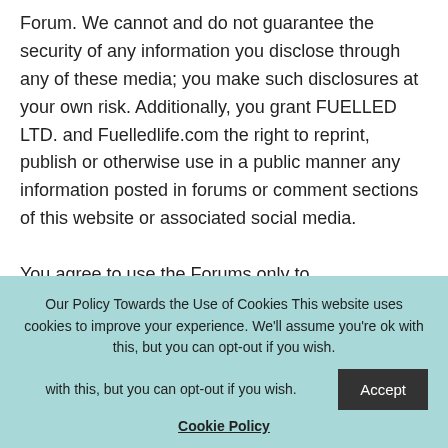Forum. We cannot and do not guarantee the security of any information you disclose through any of these media; you make such disclosures at your own risk. Additionally, you grant FUELLED LTD. and Fuelledlife.com the right to reprint, publish or otherwise use in a public manner any information posted in forums or comment sections of this website or associated social media.

You agree to use the Forums only to
Our Policy Towards the Use of Cookies This website uses cookies to improve your experience. We'll assume you're ok with this, but you can opt-out if you wish. [Accept] Cookie Policy